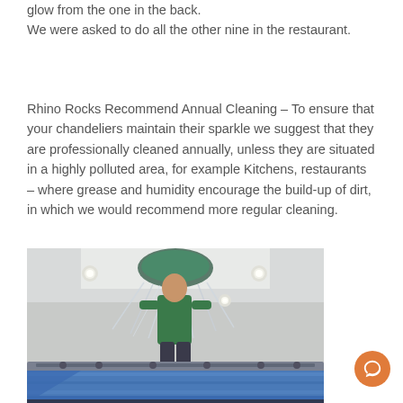glow from the one in the back.
We were asked to do all the other nine in the restaurant.
Rhino Rocks Recommend Annual Cleaning – To ensure that your chandeliers maintain their sparkle we suggest that they are professionally cleaned annually, unless they are situated in a highly polluted area, for example Kitchens, restaurants – where grease and humidity encourage the build-up of dirt, in which we would recommend more regular cleaning.
[Figure (photo): A person in a green shirt standing on scaffolding cleaning a large crystal chandelier mounted on a white ceiling, with blue protective sheeting below.]